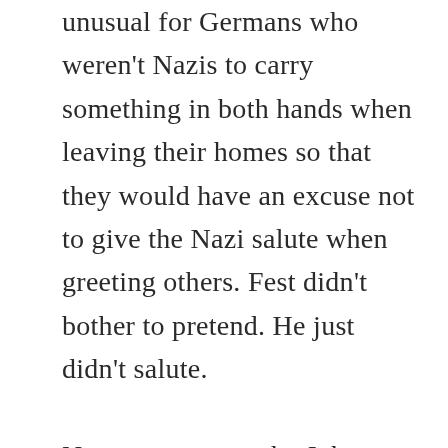unusual for Germans who weren't Nazis to carry something in both hands when leaving their homes so that they would have an excuse not to give the Nazi salute when greeting others. Fest didn't bother to pretend. He just didn't salute.

Not everyone can be Johannes Fest. It would have been nice if Germany had more of people